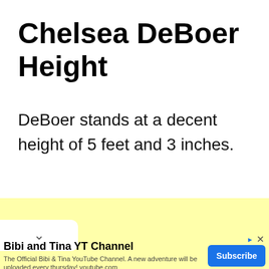Chelsea DeBoer Height
DeBoer stands at a decent height of 5 feet and 3 inches.
[Figure (other): Yellow advertisement placeholder block with a white chevron/collapse tab on the left side]
▶ ✕
Bibi and Tina YT Channel
The Official Bibi & Tina YouTube Channel. A new adventure will be uploaded every thursday! youtube.com
Subscribe